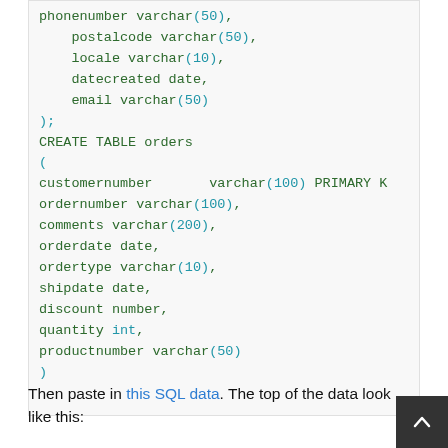phonenumber varchar(50),
    postalcode varchar(50),
    locale varchar(10),
    datecreated date,
    email varchar(50)
);
CREATE TABLE orders
(
customernumber       varchar(100) PRIMARY K
ordernumber varchar(100),
comments varchar(200),
orderdate date,
ordertype varchar(10),
shipdate date,
discount number,
quantity int,
productnumber varchar(50)
)
Then paste in this SQL data. The top of the data look like this: